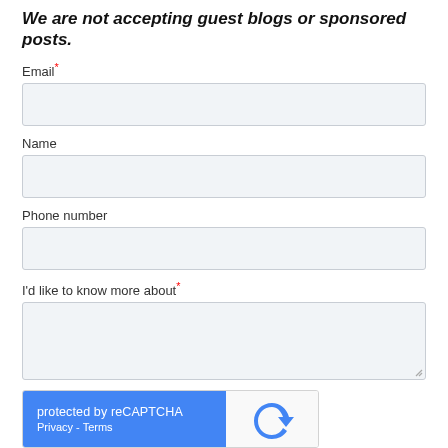We are not accepting guest blogs or sponsored posts.
Email*
Name
Phone number
I'd like to know more about*
[Figure (other): reCAPTCHA widget with blue left panel showing 'protected by reCAPTCHA' and 'Privacy - Terms' links, and white right panel with reCAPTCHA logo icon]